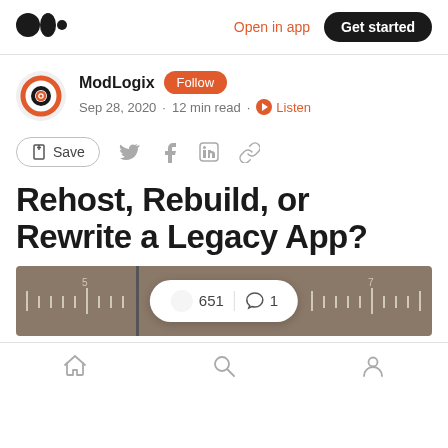Open in app  Get started
ModLogix  Follow
Sep 28, 2020 · 12 min read · Listen
Save
Rehost, Rebuild, or Rewrite a Legacy App?
[Figure (photo): Close-up photo of a ruler/measuring tape showing measurement markings, with an engagement overlay pill showing 651 claps and 1 comment]
Home  Search  Profile